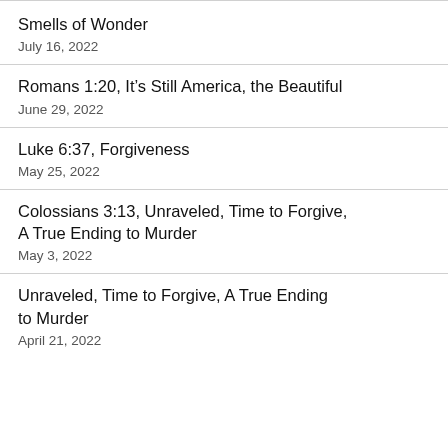Smells of Wonder
July 16, 2022
Romans 1:20, It’s Still America, the Beautiful
June 29, 2022
Luke 6:37, Forgiveness
May 25, 2022
Colossians 3:13, Unraveled, Time to Forgive, A True Ending to Murder
May 3, 2022
Unraveled, Time to Forgive, A True Ending to Murder
April 21, 2022